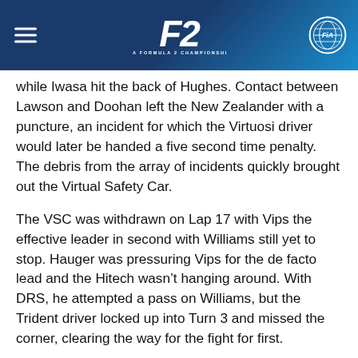[Figure (logo): FIA Formula 2 Championship header bar with F2 logo in center, hamburger menu icon on left, and FIA logo on right, on a dark blue gradient background]
while Iwasa hit the back of Hughes. Contact between Lawson and Doohan left the New Zealander with a puncture, an incident for which the Virtuosi driver would later be handed a five second time penalty. The debris from the array of incidents quickly brought out the Virtual Safety Car.
The VSC was withdrawn on Lap 17 with Vips the effective leader in second with Williams still yet to stop. Hauger was pressuring Vips for the de facto lead and the Hitech wasn't hanging around. With DRS, he attempted a pass on Williams, but the Trident driver locked up into Turn 3 and missed the corner, clearing the way for the fight for first.
Back-to-back fastest laps by Vips on Laps 19 and 20 couldn't quite break Hauger's pursuit. The Norwegian